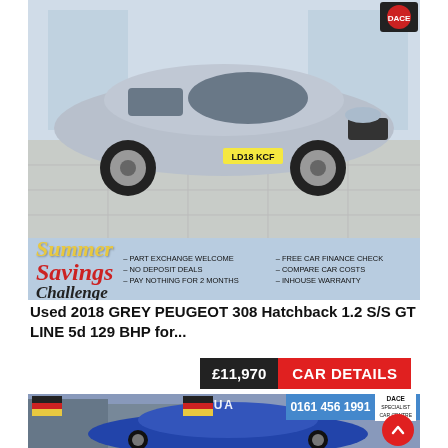[Figure (photo): Silver Peugeot 308 hatchback parked inside a dealership showroom with tiled floor and glass windows. Summer Savings Challenge promotional banner overlaid at bottom of image with bullet points: PART EXCHANGE WELCOME, NO DEPOSIT DEALS, PAY NOTHING FOR 2 MONTHS, FREE CAR FINANCE CHECK, COMPARE CAR COSTS, INHOUSE WARRANTY.]
Used 2018 GREY PEUGEOT 308 Hatchback 1.2 S/S GT LINE 5d 129 BHP for...
£11,970  CAR DETAILS
[Figure (photo): Blue Peugeot 308 hatchback parked outside a Jaguar dealership. Phone number 0161 456 1991 displayed with Dace Specialist Car Centre logo. German flag stripe branding and scroll-up button visible.]